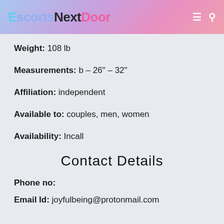EscortsNextDoor
Weight: 108 lb
Measurements: b – 26" – 32"
Affiliation: independent
Available to: couples, men, women
Availability: Incall
Contact Details
Phone no:
Email Id: joyfulbeing@protonmail.com